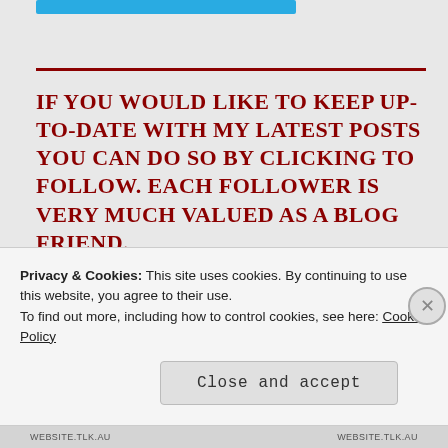[Figure (other): Blue follow button at top of page]
IF YOU WOULD LIKE TO KEEP UP-TO-DATE WITH MY LATEST POSTS YOU CAN DO SO BY CLICKING TO FOLLOW. EACH FOLLOWER IS VERY MUCH VALUED AS A BLOG FRIEND.
You can 'follow' my blog even if you're not a blogger yourself by entering your email address into the box below. All you'll ever receive is an
Privacy & Cookies: This site uses cookies. By continuing to use this website, you agree to their use.
To find out more, including how to control cookies, see here: Cookie Policy
Close and accept